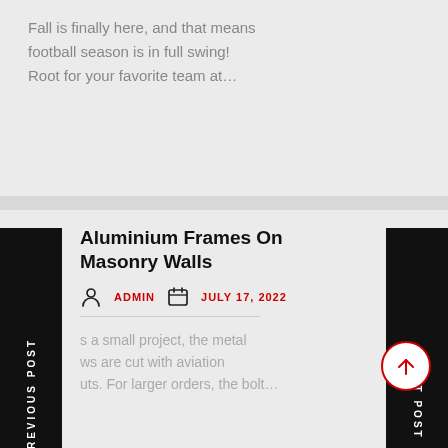Fall is finally here, and that means football season is in full swing! Root for your favorite team at…
Aluminium Frames On Masonry Walls
ADMIN   JULY 17, 2022
s a small project, the metal ws are cut with aviation uts. For larger orders, the bolt…
10 Important Benefits Of Regular Air Duct Cleaning
ADMIN   JULY 17, 2022
Sewer cleaning removes dust and